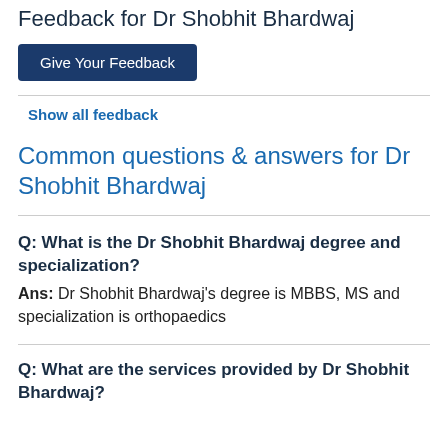Feedback for Dr Shobhit Bhardwaj
Give Your Feedback
Show all feedback
Common questions & answers for Dr Shobhit Bhardwaj
Q: What is the Dr Shobhit Bhardwaj degree and specialization?
Ans: Dr Shobhit Bhardwaj's degree is MBBS, MS and specialization is orthopaedics
Q: What are the services provided by Dr Shobhit Bhardwaj?